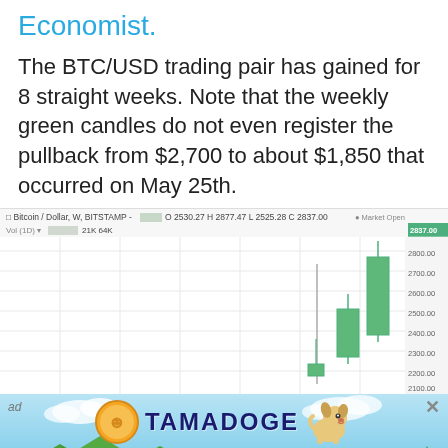Economist.
The BTC/USD trading pair has gained for 8 straight weeks. Note that the weekly green candles do not even register the pullback from $2,700 to about $1,850 that occurred on May 25th.
[Figure (screenshot): Bitcoin/Dollar weekly candlestick chart from BITSTAMP showing BTC/USD price action. Header: Bitcoin / Dollar, W, BITSTAMP - O 2530.27 H 2877.47 L 2525.28 C 2837.00, Vol (1D): 21K 64K. Chart shows green weekly candles with price levels on right axis ranging from approximately 2100 to 2900. Market Open label visible top right. Price label showing 2837.00 highlighted in green.]
[Figure (infographic): Tamadoge advertisement banner. Light blue sky background with trees. Shows Tamadoge coin logo and cartoon dog. Text: New Tamadoge Coin's Presale is 95% sold! with ACT NOW button in orange.]